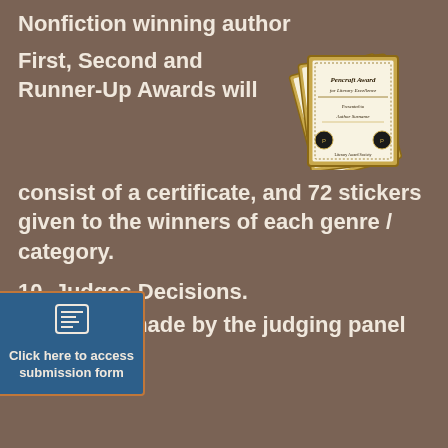Nonfiction winning author
First, Second and Runner-Up Awards will consist of a certificate, and 72 stickers given to the winners of each genre / category.
[Figure (illustration): Stack of Pencraft Award for Literary Excellence certificates fanned out]
10. Judges Decisions.
Decisions made by the judging panel will be final.
[Figure (other): Blue button overlay: Click here to access submission form]